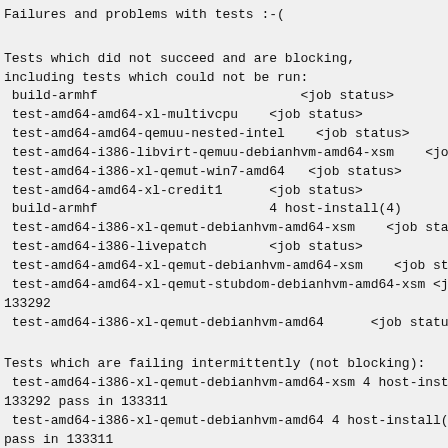Failures and problems with tests :-(
Tests which did not succeed and are blocking,
including tests which could not be run:
 build-armhf                          <job status>
 test-amd64-amd64-xl-multivcpu    <job status>
 test-amd64-amd64-qemuu-nested-intel    <job status>
 test-amd64-i386-libvirt-qemuu-debianhvm-amd64-xsm    <job sta
 test-amd64-i386-xl-qemut-win7-amd64   <job status>
 test-amd64-amd64-xl-credit1      <job status>
 build-armhf                      4 host-install(4)       broken
 test-amd64-i386-xl-qemut-debianhvm-amd64-xsm    <job status>
 test-amd64-i386-livepatch        <job status>
 test-amd64-amd64-xl-qemut-debianhvm-amd64-xsm    <job status>
 test-amd64-amd64-xl-qemut-stubdom-debianhvm-amd64-xsm <job st
133292
 test-amd64-i386-xl-qemut-debianhvm-amd64      <job status>
Tests which are failing intermittently (not blocking):
 test-amd64-i386-xl-qemut-debianhvm-amd64-xsm 4 host-install(4
133292 pass in 133311
 test-amd64-i386-xl-qemut-debianhvm-amd64 4 host-install(4) br
pass in 133311
 test-amd64-i386-livepatch    4 host-install(4) broken in 1332
 test-amd64-amd64-xl-qemut-stubdom-debianhvm-amd64-xsm 4 host-